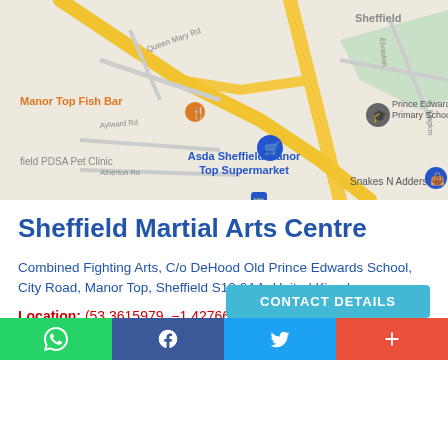[Figure (map): Google Maps screenshot showing Sheffield Martial Arts Centre area, with nearby landmarks: Manor Top Fish Bar, Asda Sheffield Manor Top Supermarket, Prince Edward Primary School, Sheffield PDSA Pet Clinic, Snakes N Adders. Road names: Queen Mary Rd, Aylward Rd, Atherton Rd, Elvaston, Kington. A blue shopping cart pin marks the location.]
Sheffield Martial Arts Centre
Combined Fighting Arts, C/o DeHood Old Prince Edwards School, City Road, Manor Top, Sheffield S12 2AA, United Kingdom
Location: (53.3615979, -1.4276623)
Rating: 5/5 ★★★★★ (1) Votes